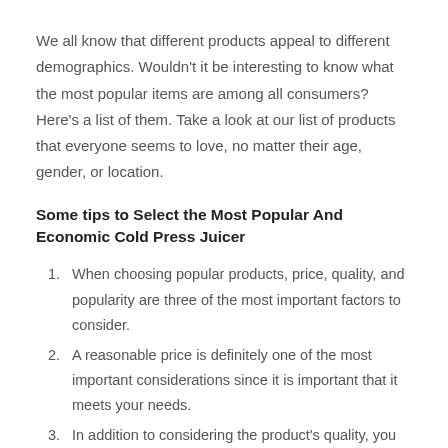We all know that different products appeal to different demographics. Wouldn't it be interesting to know what the most popular items are among all consumers? Here's a list of them. Take a look at our list of products that everyone seems to love, no matter their age, gender, or location.
Some tips to Select the Most Popular And Economic Cold Press Juicer
When choosing popular products, price, quality, and popularity are three of the most important factors to consider.
A reasonable price is definitely one of the most important considerations since it is important that it meets your needs.
In addition to considering the product's quality, you should also think about whether it meets your standards. If it does not meet your standards, you will not be able to accomplish